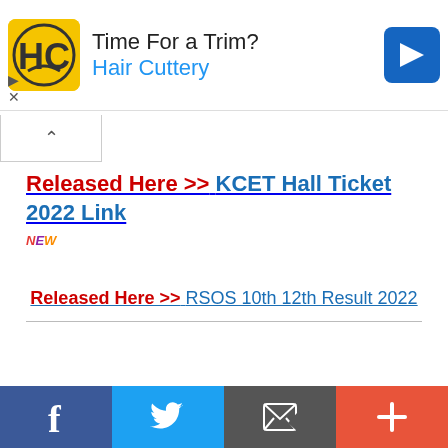[Figure (screenshot): Advertisement banner for Hair Cuttery with yellow logo, title 'Time For a Trim?' and blue navigation arrow icon]
Released Here >> KCET Hall Ticket 2022 Link
NEW
Released Here >> RSOS 10th 12th Result 2022
[Figure (screenshot): Social media share bar with Facebook, Twitter, email, and plus buttons]